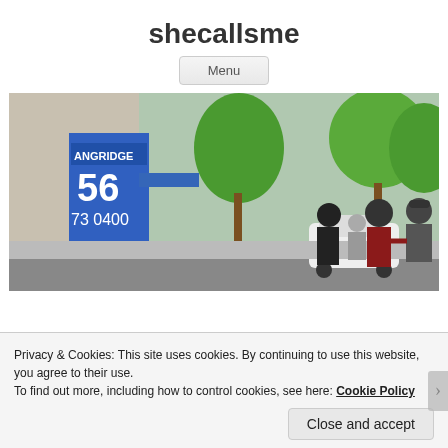shecallsme
Menu
[Figure (photo): Street scene with people standing on a sidewalk, a blue building with text 'ANGRIDGE' and numbers '156' and '73 0400', green trees lining the street, and a white car in the background.]
Privacy & Cookies: This site uses cookies. By continuing to use this website, you agree to their use.
To find out more, including how to control cookies, see here: Cookie Policy
Close and accept